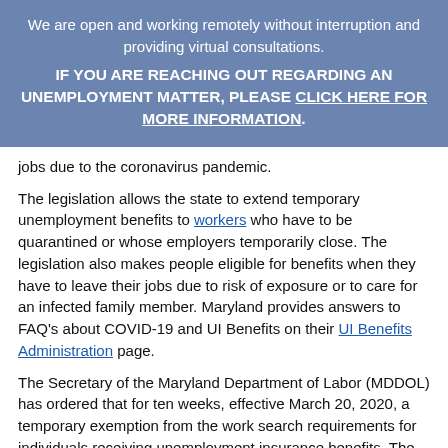We are open and working remotely without interruption and providing virtual consultations.
IF YOU ARE REACHING OUT REGARDING AN UNEMPLOYMENT MATTER, PLEASE CLICK HERE FOR MORE INFORMATION.
jobs due to the coronavirus pandemic.
The legislation allows the state to extend temporary unemployment benefits to workers who have to be quarantined or whose employers temporarily close. The legislation also makes people eligible for benefits when they have to leave their jobs due to risk of exposure or to care for an infected family member. Maryland provides answers to FAQ's about COVID-19 and UI Benefits on their UI Benefits Administration page.
The Secretary of the Maryland Department of Labor (MDDOL) has ordered that for ten weeks, effective March 20, 2020, a temporary exemption from the work search requirements for individuals receiving unemployment insurance benefits. The exemption applies to both current and new recipients, and it means that unemployment recipients in Maryland do not have to search for work.
Maryland provides answers to FAQ's about COVID-19 and UI Benefits on their UI Benefits Administration page.
PUA: This program provides up to 39 weeks of benefits to those who are not eligible for traditional UI benefits. The link to the application can be